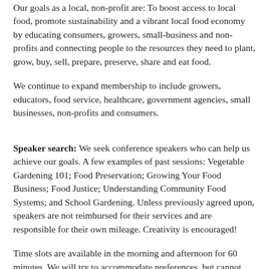Our goals as a local, non-profit are: To boost access to local food, promote sustainability and a vibrant local food economy by educating consumers, growers, small-business and non-profits and connecting people to the resources they need to plant, grow, buy, sell, prepare, preserve, share and eat food.
We continue to expand membership to include growers, educators, food service, healthcare, government agencies, small businesses, non-profits and consumers.
Speaker search: We seek conference speakers who can help us achieve our goals. A few examples of past sessions: Vegetable Gardening 101; Food Preservation; Growing Your Food Business; Food Justice; Understanding Community Food Systems; and School Gardening. Unless previously agreed upon, speakers are not reimbursed for their services and are responsible for their own mileage. Creativity is encouraged!
Time slots are available in the morning and afternoon for 60 minutes. We will try to accommodate preferences, but cannot make advance guarantees. The Macomb Food Collaborative/Macomb Community